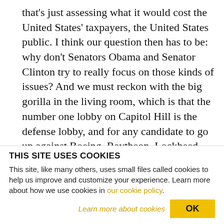that's just assessing what it would cost the United States' taxpayers, the United States public. I think our question then has to be: why don't Senators Obama and Senator Clinton try to really focus on those kinds of issues? And we must reckon with the big gorilla in the living room, which is that the number one lobby on Capitol Hill is the defense lobby, and for any candidate to go up against Boeing, Raytheon, Lockheed, General Electric, General Dynamics, Northrup Grumman, would perhaps be to hand over to your opponent huge coffers of contributions from
THIS SITE USES COOKIES
This site, like many others, uses small files called cookies to help us improve and customize your experience. Learn more about how we use cookies in our cookie policy.
Learn more about cookies   OK